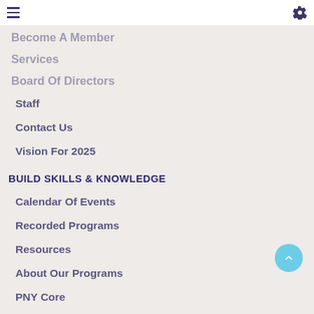Navigation header with hamburger menu and settings icon
Become A Member
Services
Board Of Directors
Staff
Contact Us
Vision For 2025
BUILD SKILLS & KNOWLEDGE
Calendar Of Events
Recorded Programs
Resources
About Our Programs
PNY Core
Know Before You Go
Get Involved
Regional Calendar
NETWORK